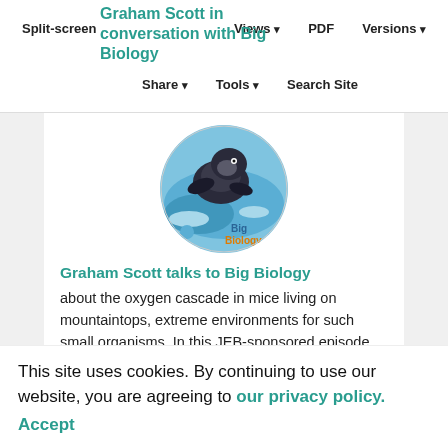Split-screen  Views ▾  PDF  Versions ▾  Share ▾  Tools ▾  Search Site
Graham Scott in conversation with Big Biology
[Figure (illustration): Circular podcast artwork for Big Biology showing a marine mammal (seal or similar) in blue watercolor style with 'Big Biology' text in blue and orange]
Graham Scott talks to Big Biology
about the oxygen cascade in mice living on mountaintops, extreme environments for such small organisms. In this JEB-sponsored episode, they discuss the concept of
This site uses cookies. By continuing to use our website, you are agreeing to our privacy policy. Accept